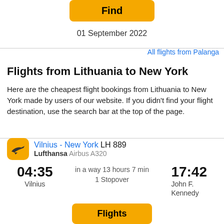Find
01 September 2022
All flights from Palanga
Flights from Lithuania to New York
Here are the cheapest flight bookings from Lithuania to New York made by users of our website. If you didn't find your flight destination, use the search bar at the top of the page.
Vilnius - New York LH 889
Lufthansa Airbus A320
04:35
Vilnius
in a way 13 hours 7 min
1 Stopover
17:42
John F. Kennedy
Flights